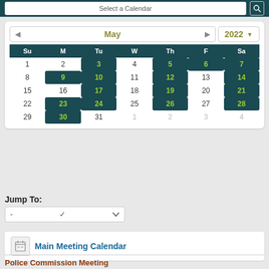[Figure (screenshot): Calendar widget showing May 2022 with event days highlighted in dark teal with green numbers]
Jump To:
-
Main Meeting Calendar
Police Commission Meeting
May 10, 2022, 6:00 PM @ Town Hall Council Room
Police Commission meetings are held in the Council Room at Town Hall on the second Tuesday of the month. The meetings are open to